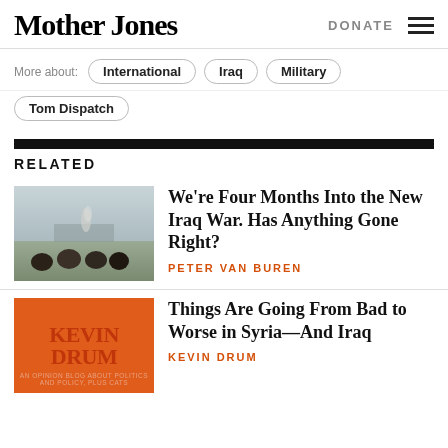Mother Jones | DONATE
More about: International | Iraq | Military
Tom Dispatch
RELATED
[Figure (photo): People watching a distant scene in Iraq, desert landscape with smoke in the background.]
We're Four Months Into the New Iraq War. Has Anything Gone Right?
PETER VAN BUREN
[Figure (illustration): Kevin Drum blog logo — orange background with large dark red text reading KEVIN DRUM and subtitle text below.]
Things Are Going From Bad to Worse in Syria—And Iraq
KEVIN DRUM